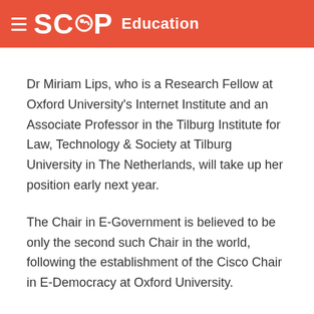SCOOP Education
Dr Miriam Lips, who is a Research Fellow at Oxford University's Internet Institute and an Associate Professor in the Tilburg Institute for Law, Technology & Society at Tilburg University in The Netherlands, will take up her position early next year.
The Chair in E-Government is believed to be only the second such Chair in the world, following the establishment of the Cisco Chair in E-Democracy at Oxford University.
Dr Lips' appointment followed an extensive international recruitment process involving a number